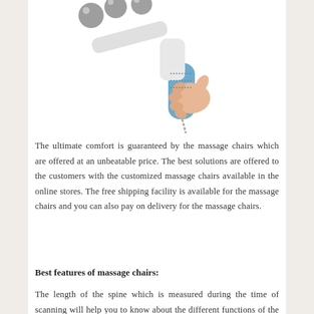[Figure (photo): A hand holding a white and blue handheld massager device with multiple ball-shaped massage heads at the top.]
The ultimate comfort is guaranteed by the massage chairs which are offered at an unbeatable price. The best solutions are offered to the customers with the customized massage chairs available in the online stores. The free shipping facility is available for the massage chairs and you can also pay on delivery for the massage chairs.
Best features of massage chairs:
The length of the spine which is measured during the time of scanning will help you to know about the different functions of the massage chairs. The massage chairs